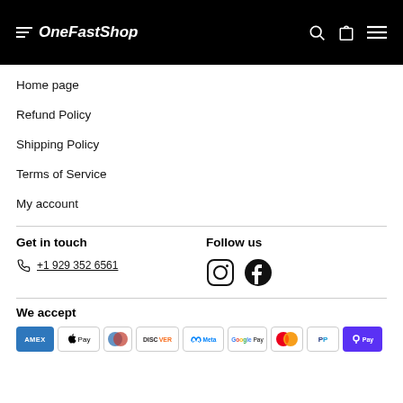[Figure (logo): OneFastShop logo with speed lines on black header bar]
Home page
Refund Policy
Shipping Policy
Terms of Service
My account
Get in touch
+1 929 352 6561
Follow us
[Figure (illustration): Instagram and Facebook social media icons]
We accept
[Figure (illustration): Payment method icons: Amex, Apple Pay, Diners Club, Discover, Meta Pay, Google Pay, Mastercard, PayPal, Shop Pay]